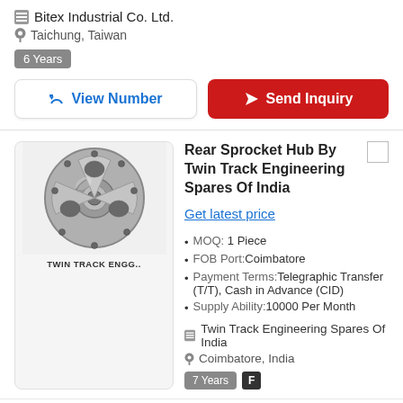Bitex Industrial Co. Ltd.
Taichung, Taiwan
6 Years
View Number
Send Inquiry
Rear Sprocket Hub By Twin Track Engineering Spares Of India
Get latest price
MOQ: 1 Piece
FOB Port: Coimbatore
Payment Terms: Telegraphic Transfer (T/T), Cash in Advance (CID)
Supply Ability: 10000 Per Month
Twin Track Engineering Spares Of India
Coimbatore, India
7 Years
F
View Number
Send Inquiry